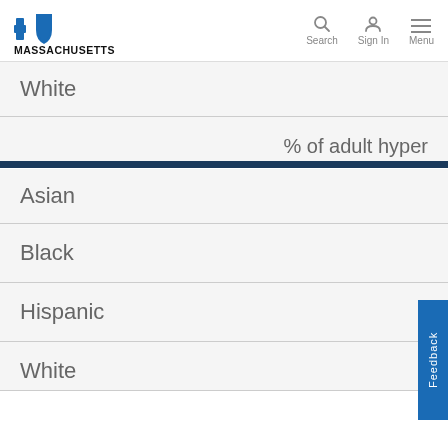Blue Cross Blue Shield Massachusetts — Search | Sign In | Menu
White
% of adult hyper
Asian
Black
Hispanic
White